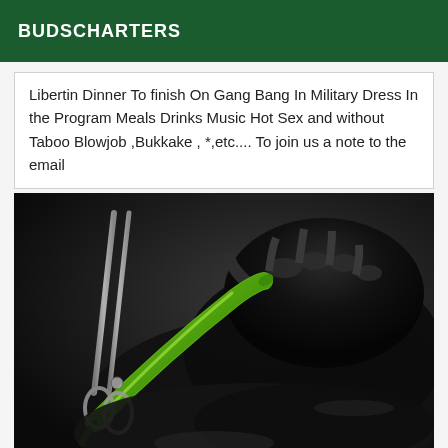BUDSCHARTERS
Libertin Dinner To finish On Gang Bang In Military Dress In the Program Meals Drinks Music Hot Sex and without Taboo Blowjob ,Bukkake , *,etc.... To join us a note to the email
[Figure (photo): Close-up photo of a green chili pepper held by a hand in black latex/rubber glove against a dark background, with scissors visible on the left side.]